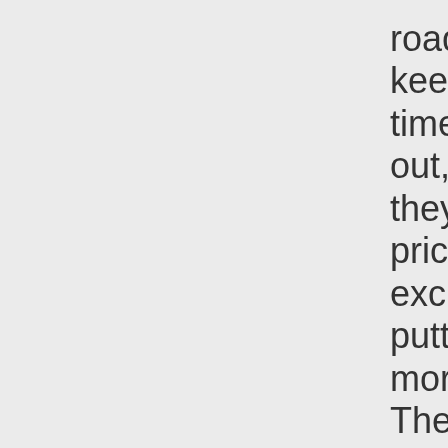road, FWC prices keep going up every time I check them out, first because they raised their prices, now the exchange rate is putting them even more out of reach. They also have outlandish prices on the “Canadian package” of mods that would presumably allow them to survive our